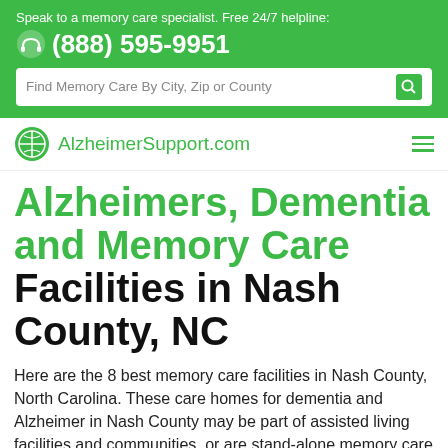Speak to a memory care specialist. Free 24/7 helpline: (888) 595-9951
Alzheimers, Dementia and Memory Care Facilities in Nash County, NC
Here are the 8 best memory care facilities in Nash County, North Carolina. These care homes for dementia and Alzheimer in Nash County may be part of assisted living facilities and communities, or are stand-alone memory care